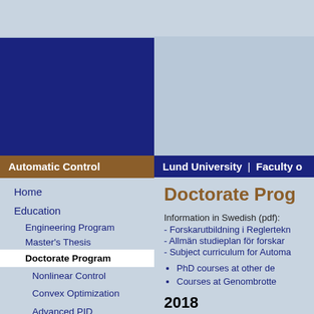[Figure (screenshot): University website screenshot showing Automatic Control department page at Lund University with sidebar navigation and Doctorate Program content]
Automatic Control
Lund University | Faculty o
Home
Education
Engineering Program
Master's Thesis
Doctorate Program
Nonlinear Control
Convex Optimization
Advanced PID Control
Robust Control
Doctorate Prog
Information in Swedish (pdf):
- Forskarutbildning i Reglertekn
- Allmän studieplan för forskar
- Subject curriculum for Automa
PhD courses at other de
Courses at Genombrotte
2018